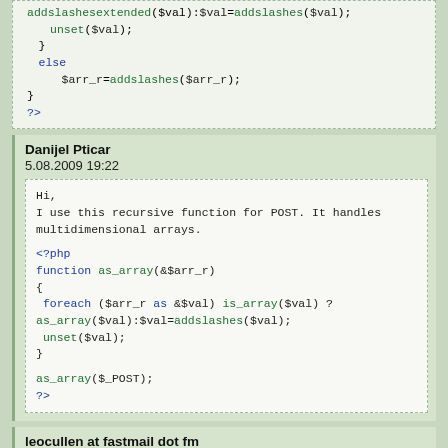[Figure (screenshot): PHP code snippet showing addslashesextended function partial, with unset($val), else, $arr_r=addslashes($arr_r), closing brace, and ?> tag]
Danijel Pticar
5.08.2009 19:22
Hi,
I use this recursive function for POST. It handles multidimensional arrays.

<?php
function as_array(&$arr_r)
{
 foreach ($arr_r as &$val) is_array($val) ? as_array($val):$val=addslashes($val);
 unset($val);
}

as_array($_POST);
?>
leocullen at fastmail dot fm
6.02.2009 22:06
this is my version of an addslashes function, useful for processing $_POST array:

<?php
function add_slashes ($an_array) {